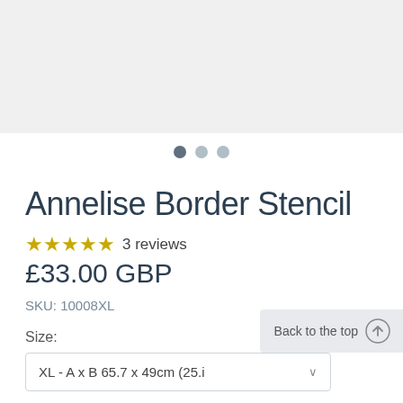[Figure (other): Light grey image placeholder area for product image slideshow]
Annelise Border Stencil
★★★★★ 3 reviews
£33.00 GBP
SKU: 10008XL
Size:
XL - A x B 65.7 x 49cm (25.i ∨
Back to the top ↑